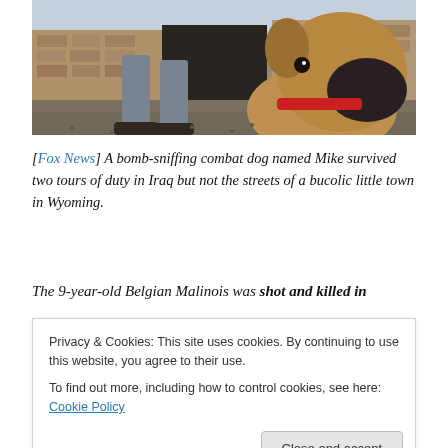[Figure (photo): A military handler in camouflage uniform walking with a large Belgian Malinois dog wearing a red collar, outdoors near a building with stone walls.]
[Fox News] A bomb-sniffing combat dog named Mike survived two tours of duty in Iraq but not the streets of a bucolic little town in Wyoming.
The 9-year-old Belgian Malinois was shot and killed in
Privacy & Cookies: This site uses cookies. By continuing to use this website, you agree to their use.
To find out more, including how to control cookies, see here: Cookie Policy
The bicyclist, 59, told the Park County Sheriff's Office he